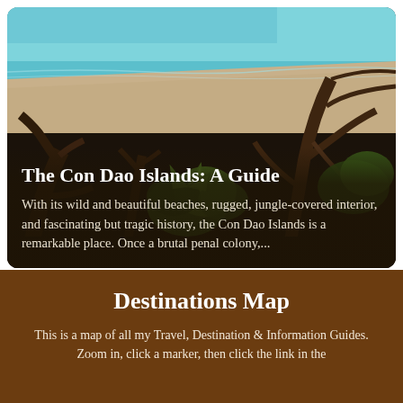[Figure (photo): Aerial or elevated view of a tropical beach with turquoise water, sandy shore, and dense jungle vegetation with dead/driftwood trees in the foreground. The Con Dao Islands, Vietnam.]
The Con Dao Islands: A Guide
With its wild and beautiful beaches, rugged, jungle-covered interior, and fascinating but tragic history, the Con Dao Islands is a remarkable place. Once a brutal penal colony,...
Destinations Map
This is a map of all my Travel, Destination & Information Guides. Zoom in, click a marker, then click the link in the